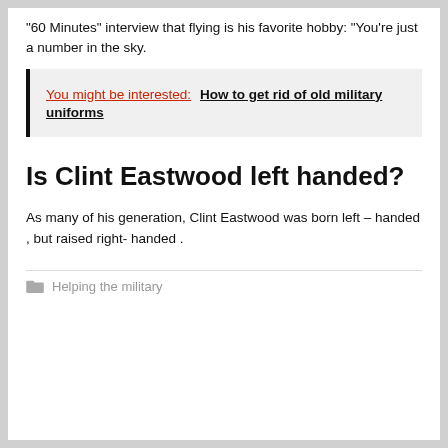"60 Minutes" interview that flying is his favorite hobby: "You're just a number in the sky.
You might be interested:  How to get rid of old military uniforms
Is Clint Eastwood left handed?
As many of his generation, Clint Eastwood was born left – handed , but raised right- handed .
Helping the military